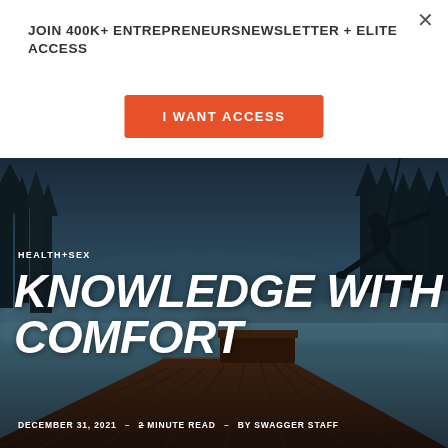JOIN 400K+ ENTREPRENEURSNEWSLETTER + ELITE ACCESS
I WANT ACCESS
[Figure (photo): Dark moody photo of a wooden dock extending over a misty lake at dusk, with silhouette of a person hanging/swinging from a rope or swing in the upper right, trees in background]
HEALTH+SEX
KNOWLEDGE WITH COMFORT
DECEMBER 31, 2021  –  2 MINUTE READ  –  BY SWAGGER STAFF